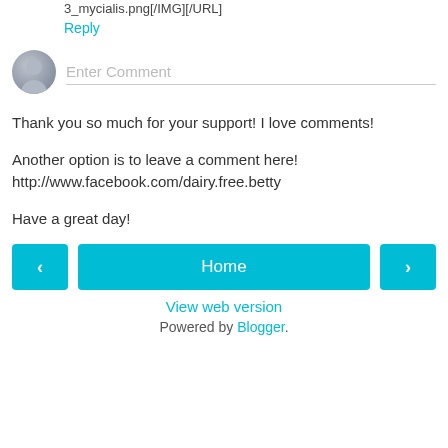3_mycialis.png[/IMG][/URL]
Reply
[Figure (other): Generic user avatar circle with silhouette and comment input field placeholder 'Enter Comment']
Thank you so much for your support! I love comments!
Another option is to leave a comment here! http://www.facebook.com/dairy.free.betty
Have a great day!
[Figure (other): Navigation row with left arrow button, Home button, and right arrow button]
View web version
Powered by Blogger.